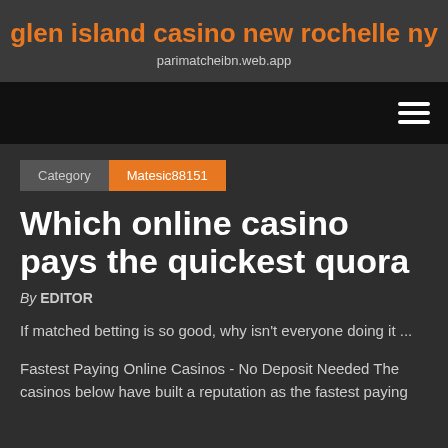glen island casino new rochelle ny
parimatcheibn.web.app
Category  Matesic88151
Which online casino pays the quickest quora
By EDITOR
If matched betting is so good, why isn't everyone doing it ...
Fastest Paying Online Casinos - No Deposit Needed The casinos below have built a reputation as the fastest paying...